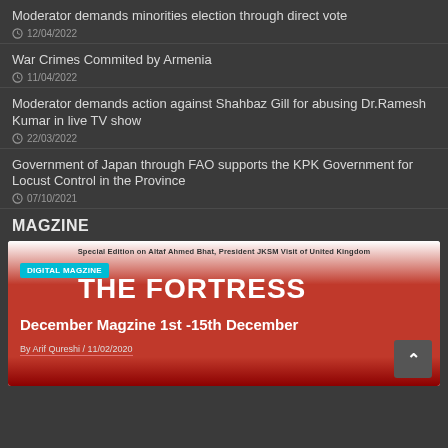Moderator demands minorities election through direct vote
12/04/2022
War Crimes Commited by Armenia
11/04/2022
Moderator demands action against Shahbaz Gill for abusing Dr.Ramesh Kumar in live TV show
22/03/2022
Government of Japan through FAO supports the KPK Government for Locust Control in the Province
07/10/2021
MAGZINE
[Figure (other): Magazine cover for The Fortress - Digital Magzine, Special Edition on Altaf Ahmed Bhat, President JKSM Visit of United Kingdom. December Magzine 1st-15th December. By Arif Qureshi / 11/02/2020]